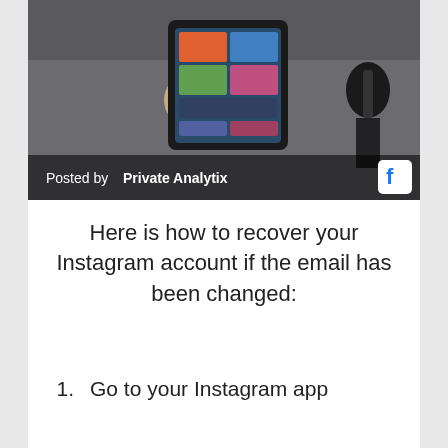[Figure (photo): Person holding a smartphone showing Instagram interface, with a microphone in the background. Text overlay reads 'Posted by Private Analytix' with a Facebook logo icon in bottom right of image.]
Here is how to recover your Instagram account if the email has been changed:
1.   Go to your Instagram app
2.   Go to the login screen...